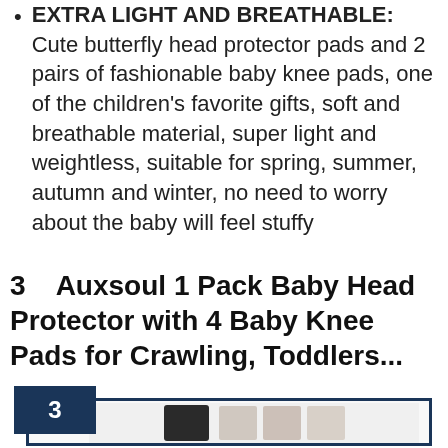EXTRA LIGHT AND BREATHABLE: Cute butterfly head protector pads and 2 pairs of fashionable baby knee pads, one of the children's favorite gifts, soft and breathable material, super light and weightless, suitable for spring, summer, autumn and winter, no need to worry about the baby will feel stuffy
3   Auxsoul 1 Pack Baby Head Protector with 4 Baby Knee Pads for Crawling, Toddlers...
[Figure (photo): Product image area with rank badge showing number 3 in dark navy square, bordered by navy rectangle outline, showing partial view of baby knee pads product]